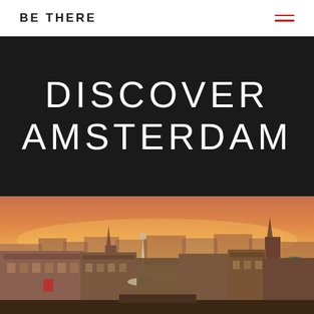BE THERE
DISCOVER AMSTERDAM
[Figure (photo): Aerial cityscape photograph of Amsterdam at sunset, showing historic buildings, the National Monument at Dam Square, and church spires with an orange-pink sky.]